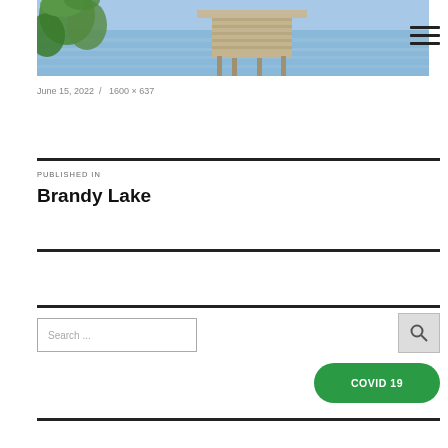[Figure (photo): Photo of a wooden dock/pier extending into a calm blue lake with trees on the left side]
June 15, 2022 / 1600 × 637
PUBLISHED IN
Brandy Lake
Search ...
[Figure (other): COVID 19 green pill-shaped button]